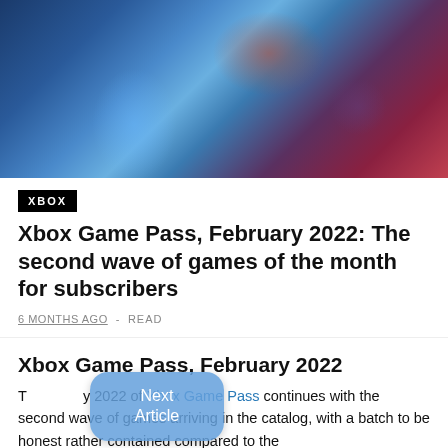[Figure (illustration): Fantasy game art showing warriors in battle with a large armored creature on rocky terrain, blue and red color palette]
XBOX
Xbox Game Pass, February 2022: The second wave of games of the month for subscribers
6 MONTHS AGO  -  READ
Xbox Game Pass, February 2022
The February 2022 of Xbox Game Pass continues with the second wave of games arriving in the catalog, with a batch to be honest rather contained compared to the